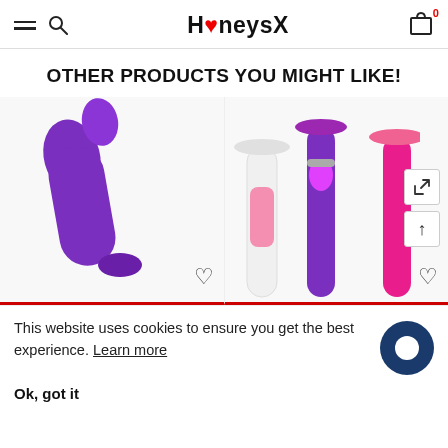HoneysX
OTHER PRODUCTS YOU MIGHT LIKE!
[Figure (photo): Purple vibrator/massager product on left product card with heart wishlist icon]
[Figure (photo): Three vibrator products (white/pink, purple, pink) on right product card with expand and up arrow buttons and heart wishlist icon]
This website uses cookies to ensure you get the best experience. Learn more
Ok, got it